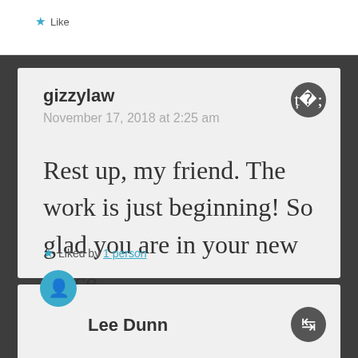Like
gizzylaw
November 17, 2018 at 2:25 am
Rest up, my friend. The work is just beginning! So glad you are in your new place.
Liked by 1 person
Lee Dunn